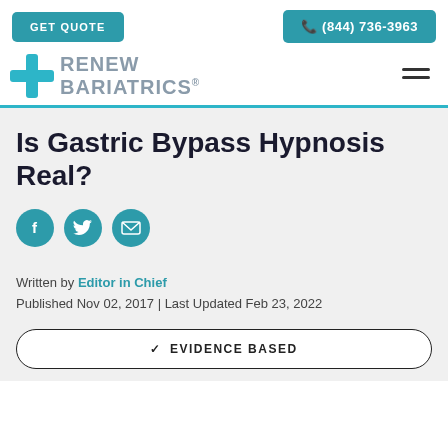GET QUOTE | (844) 736-3963
[Figure (logo): Renew Bariatrics logo with teal cross icon and gray text]
Is Gastric Bypass Hypnosis Real?
[Figure (illustration): Social share icons: Facebook, Twitter, Email]
Written by Editor in Chief
Published Nov 02, 2017 | Last Updated Feb 23, 2022
✓ EVIDENCE BASED